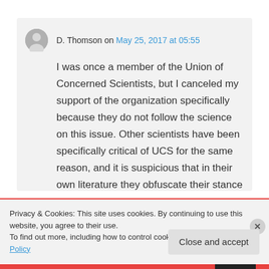D. Thomson on May 25, 2017 at 05:55
I was once a member of the Union of Concerned Scientists, but I canceled my support of the organization specifically because they do not follow the science on this issue. Other scientists have been specifically critical of UCS for the same reason, and it is suspicious that in their own literature they obfuscate their stance on
Privacy & Cookies: This site uses cookies. By continuing to use this website, you agree to their use.
To find out more, including how to control cookies, see here: Cookie Policy
Close and accept